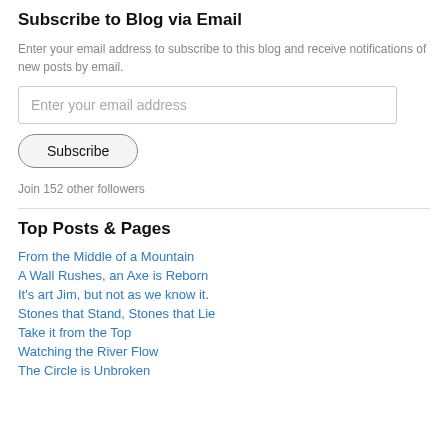Subscribe to Blog via Email
Enter your email address to subscribe to this blog and receive notifications of new posts by email.
Enter your email address
Subscribe
Join 152 other followers
Top Posts & Pages
From the Middle of a Mountain
A Wall Rushes, an Axe is Reborn
It's art Jim, but not as we know it.
Stones that Stand, Stones that Lie
Take it from the Top
Watching the River Flow
The Circle is Unbroken